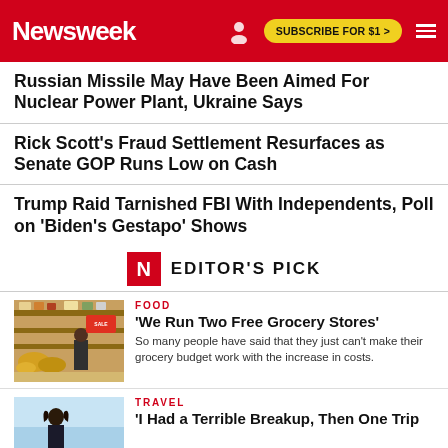Newsweek | SUBSCRIBE FOR $1 >
Russian Missile May Have Been Aimed For Nuclear Power Plant, Ukraine Says
Rick Scott's Fraud Settlement Resurfaces as Senate GOP Runs Low on Cash
Trump Raid Tarnished FBI With Independents, Poll on 'Biden's Gestapo' Shows
EDITOR'S PICK
FOOD
'We Run Two Free Grocery Stores'
So many people have said that they just can't make their grocery budget work with the increase in costs.
TRAVEL
'I Had a Terrible Breakup, Then One Trip...